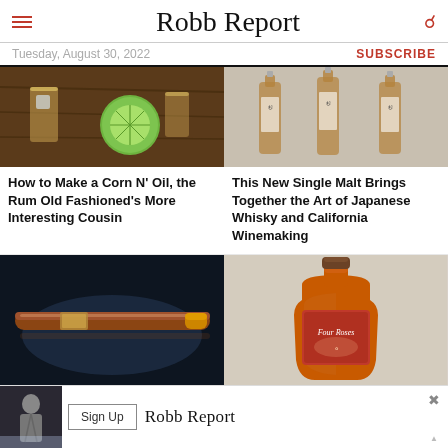Robb Report
Tuesday, August 30, 2022
SUBSCRIBE
[Figure (photo): Cocktail drinks with lime on wooden surface]
How to Make a Corn N' Oil, the Rum Old Fashioned's More Interesting Cousin
[Figure (photo): Three Japanese whisky bottles on light background]
This New Single Malt Brings Together the Art of Japanese Whisky and California Winemaking
[Figure (photo): Dark luxury cigar on dark background]
[Figure (photo): Four Roses bourbon bottle on light background]
[Figure (photo): Robb Report advertisement with Sign Up button]